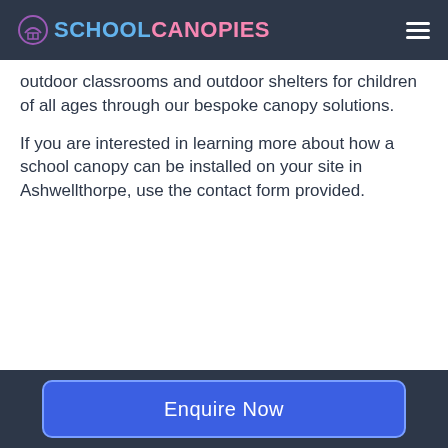SCHOOL CANOPIES
outdoor classrooms and outdoor shelters for children of all ages through our bespoke canopy solutions.
If you are interested in learning more about how a school canopy can be installed on your site in Ashwellthorpe, use the contact form provided.
[Figure (photo): Yellow metal frame school canopy with polycarbonate roof panels, outdoor structure]
[Figure (photo): Green metal frame circular school canopy shelter with red fabric roof and benches]
Enquire Now